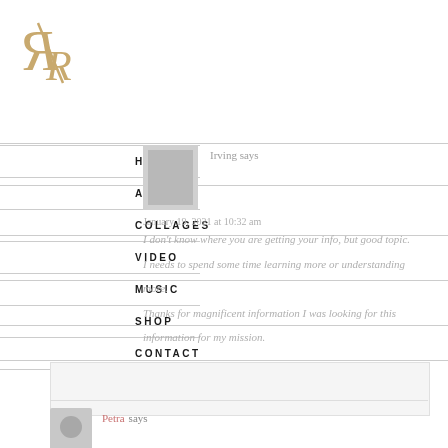[Figure (logo): Website logo with mirrored R letters in gold/tan color with a diagonal slash]
HOME
ABOUT
COLLAGES
VIDEO
MUSIC
SHOP
CONTACT
Irving says
January 19, 2021 at 10:32 am
I don't know where you are getting your info, but good topic. I needs to spend some time learning more or understanding more. Thanks for magnificent information I was looking for this information for my mission.
Petra says